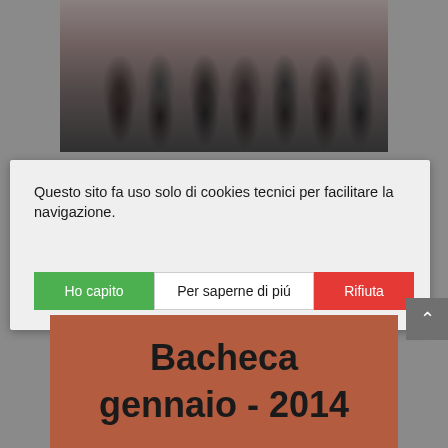[Figure (photo): Partial view of a crowd of people, a group photograph showing multiple individuals standing together outdoors]
Questo sito fa uso solo di cookies tecnici per facilitare la navigazione.
Ho capito
Per saperne di piú
Rifiuta
Bacheca gennaio - 2014